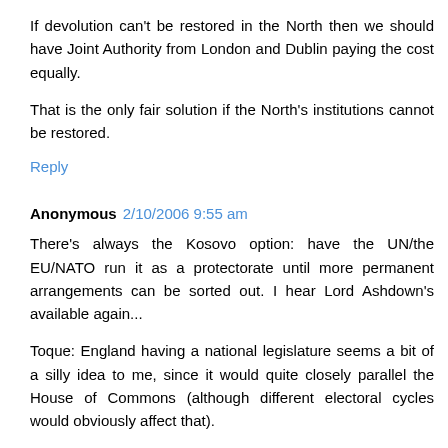If devolution can't be restored in the North then we should have Joint Authority from London and Dublin paying the cost equally.
That is the only fair solution if the North's institutions cannot be restored.
Reply
Anonymous 2/10/2006 9:55 am
There's always the Kosovo option: have the UN/the EU/NATO run it as a protectorate until more permanent arrangements can be sorted out. I hear Lord Ashdown's available again...
Toque: England having a national legislature seems a bit of a silly idea to me, since it would quite closely parallel the House of Commons (although different electoral cycles would obviously affect that).
Regional devolution of the kind recently rejected in the